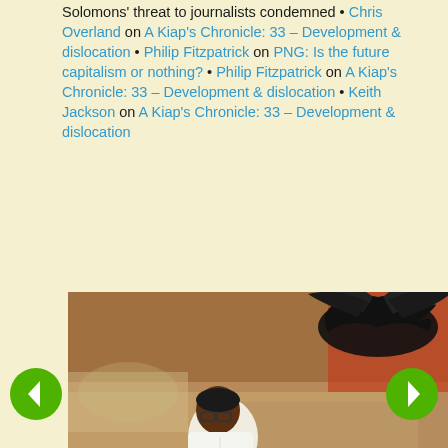Solomons' threat to journalists condemned • Chris Overland on A Kiap's Chronicle: 33 – Development & dislocation • Philip Fitzpatrick on PNG: Is the future capitalism or nothing? • Philip Fitzpatrick on A Kiap's Chronicle: 33 – Development & dislocation • Keith Jackson on A Kiap's Chronicle: 33 – Development & dislocation
[Figure (photo): Black and white / slightly color-tinted photograph showing a man wearing glasses and a white shirt, sitting or leaning forward, with a large dark bird of paradise perched above in the background amid thatch/bamboo structures.]